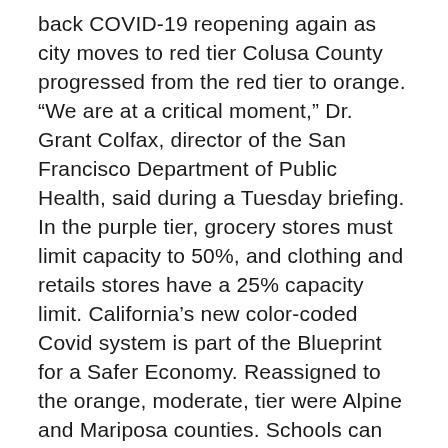back COVID-19 reopening again as city moves to red tier Colusa County progressed from the red tier to orange. “We are at a critical moment,” Dr. Grant Colfax, director of the San Francisco Department of Public Health, said during a Tuesday briefing. In the purple tier, grocery stores must limit capacity to 50%, and clothing and retails stores have a 25% capacity limit. California’s new color-coded Covid system is part of the Blueprint for a Safer Economy. Reassigned to the orange, moderate, tier were Alpine and Mariposa counties. Schools can reopen for in-person instruction once their county has been in the Substantial (red) tier for two weeks. San Luis Obispo County is currently in the red tier, but health officials warn the current case count indicates a purple tier is looming. The county will dispatch compliance staffers in custom yellow vests to visit “high traffic shopping areas” to ensure businesses strictly follow COVID-19 safety precautions. San Francisco did not move into the most restrictive population of California’s reopening reviewed